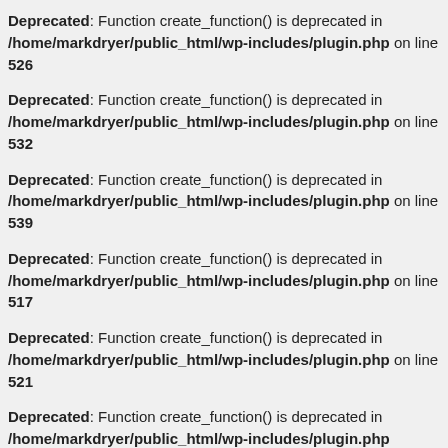Deprecated: Function create_function() is deprecated in /home/markdryer/public_html/wp-includes/plugin.php on line 526
Deprecated: Function create_function() is deprecated in /home/markdryer/public_html/wp-includes/plugin.php on line 532
Deprecated: Function create_function() is deprecated in /home/markdryer/public_html/wp-includes/plugin.php on line 539
Deprecated: Function create_function() is deprecated in /home/markdryer/public_html/wp-includes/plugin.php on line 517
Deprecated: Function create_function() is deprecated in /home/markdryer/public_html/wp-includes/plugin.php on line 521
Deprecated: Function create_function() is deprecated in /home/markdryer/public_html/wp-includes/plugin.php on line ...